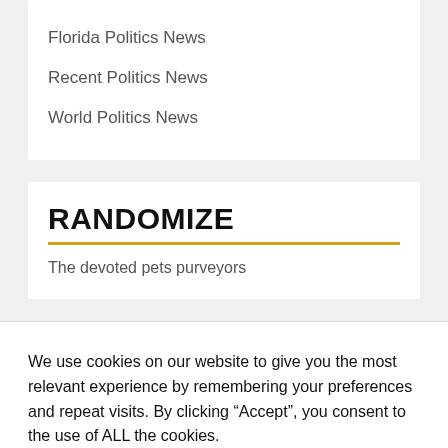Florida Politics News
Recent Politics News
World Politics News
RANDOMIZE
The devoted pets purveyors
We use cookies on our website to give you the most relevant experience by remembering your preferences and repeat visits. By clicking “Accept”, you consent to the use of ALL the cookies.
Cookie settings   ACCEPT